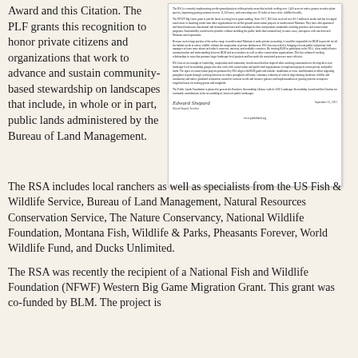Award and this Citation. The PLF grants this recognition to honor private citizens and organizations that work to advance and sustain community-based stewardship on landscapes that include, in whole or in part, public lands administered by the Bureau of Land Management.
[Figure (other): A scanned letter document from the Public Lands Foundation presenting the Ranchers Stewardship Alliance with its 2020 Landscape Stewardship Award and Citation. The letter contains several paragraphs of small text, a cursive signature, a date of September 13, 2020, and the website www.publidland.org at the bottom.]
The RSA includes local ranchers as well as specialists from the US Fish & Wildlife Service, Bureau of Land Management, Natural Resources Conservation Service, The Nature Conservancy, National Wildlife Foundation, Montana Fish, Wildlife & Parks, Pheasants Forever, World Wildlife Fund, and Ducks Unlimited.
The RSA was recently the recipient of a National Fish and Wildlife Foundation (NFWF) Western Big Game Migration Grant. This grant was co-funded by BLM. The project is